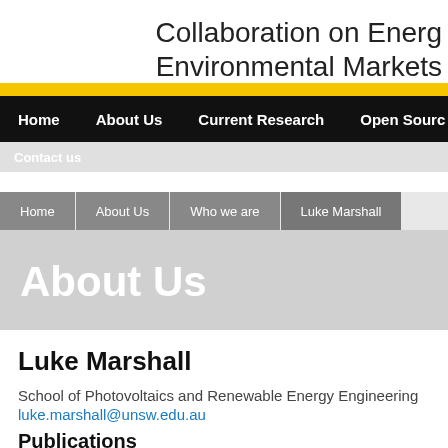Collaboration on Energy Environmental Markets
Home  About Us  Current Research  Open Source
Contact us
Home  About Us  Who we are  Luke Marshall
About Us
Luke Marshall
School of Photovoltaics and Renewable Energy Engineering
luke.marshall@unsw.edu.au
Publications